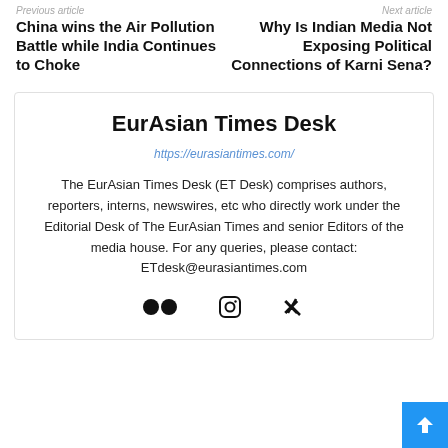Previous article
Next article
China wins the Air Pollution Battle while India Continues to Choke
Why Is Indian Media Not Exposing Political Connections of Karni Sena?
EurAsian Times Desk
https://eurasiantimes.com/
The EurAsian Times Desk (ET Desk) comprises authors, reporters, interns, newswires, etc who directly work under the Editorial Desk of The EurAsian Times and senior Editors of the media house. For any queries, please contact: ETdesk@eurasiantimes.com